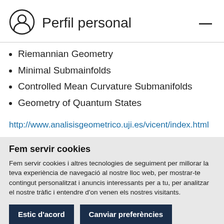Perfil personal
Riemannian Geometry
Minimal Submainfolds
Controlled Mean Curvature Submanifolds
Geometry of Quantum States
http://www.analisisgeometrico.uji.es/vicent/index.html
Fem servir cookies
Fem servir cookies i altres tecnologies de seguiment per millorar la teva experiència de navegació al nostre lloc web, per mostrar-te contingut personalitzat i anuncis interessants per a tu, per analitzar el nostre tràfic i entendre d'on venen els nostres visitants.
Estic d'acord | Canviar preferències